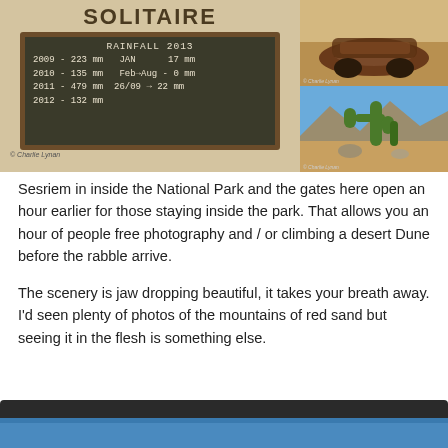[Figure (photo): Chalkboard sign at Solitaire showing RAINFALL 2013 data: 2009-223mm, 2010-135mm, 2011-479mm, 2012-132mm; JAN 17mm, Feb-Aug 0mm, 26/09-22mm]
[Figure (photo): Rusted old vehicle/car wreck on red dirt ground]
[Figure (photo): Desert scene with cactus/succulents growing among rocks, blue sky background]
Sesriem in inside the National Park and the gates here open an hour earlier for those staying inside the park. That allows you an hour of people free photography and / or climbing a desert Dune before the rabble arrive.
The scenery is jaw dropping beautiful, it takes your breath away. I'd seen plenty of photos of the mountains of red sand but seeing it in the flesh is something else.
[Figure (photo): Bottom portion of a tablet/device showing a blue screen, partially cropped]